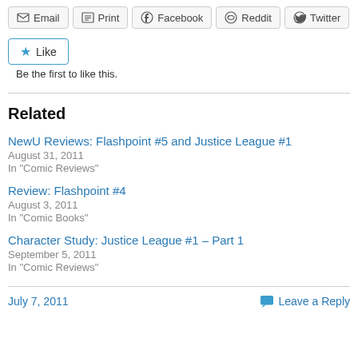Email | Print | Facebook | Reddit | Twitter
Like
Be the first to like this.
Related
NewU Reviews: Flashpoint #5 and Justice League #1
August 31, 2011
In "Comic Reviews"
Review: Flashpoint #4
August 3, 2011
In "Comic Books"
Character Study: Justice League #1 – Part 1
September 5, 2011
In "Comic Reviews"
July 7, 2011    Leave a Reply